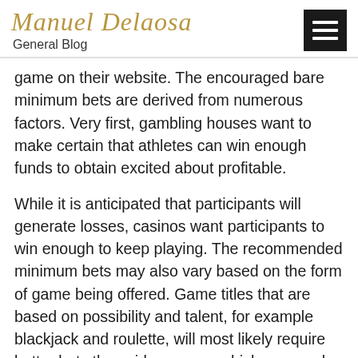Manuel Delaosa
General Blog
game on their website. The encouraged bare minimum bets are derived from numerous factors. Very first, gambling houses want to make certain that athletes can win enough funds to obtain excited about profitable.
While it is anticipated that participants will generate losses, casinos want participants to win enough to keep playing. The recommended minimum bets may also vary based on the form of game being offered. Game titles that are based on possibility and talent, for example blackjack and roulette, will most likely require better bets than video games which are purely